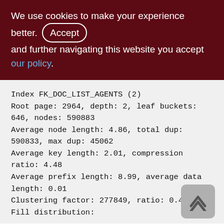We use cookies to make your experience better. By accepting and further navigating this website you accept our policy.
Index FK_DOC_LIST_AGENTS (2)
Root page: 2964, depth: 2, leaf buckets: 646, nodes: 590883
Average node length: 4.86, total dup: 590833, max dup: 45062
Average key length: 2.01, compression ratio: 4.48
Average prefix length: 8.99, average data length: 0.01
Clustering factor: 277849, ratio: 0.47
Fill distribution: